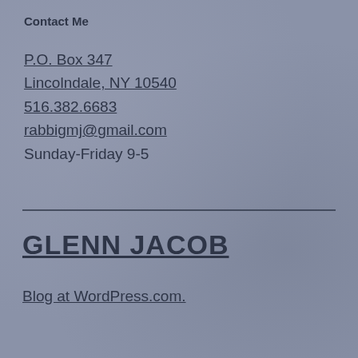Contact Me
P.O. Box 347
Lincolndale, NY 10540
516.382.6683
rabbigmj@gmail.com
Sunday-Friday 9-5
GLENN JACOB
Blog at WordPress.com.